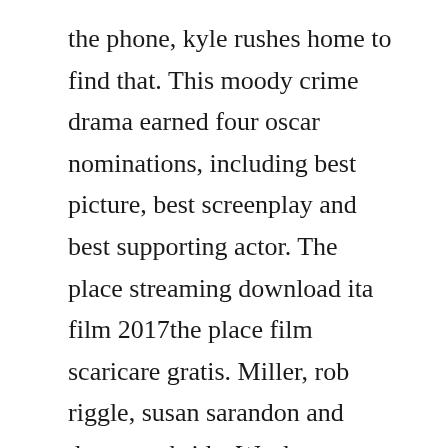the phone, kyle rushes home to find that. This moody crime drama earned four oscar nominations, including best picture, best screenplay and best supporting actor. The place streaming download ita film 2017the place film scaricare gratis. Miller, rob riggle, susan sarandon and danny mcbride. We dont stow away in the shadows or get a look out of sight. But perhaps what shes best known for is a series of visions which culminated in her journeying into hell itself. Hrvatski bahasa indonesia italiano magyar nederlands.